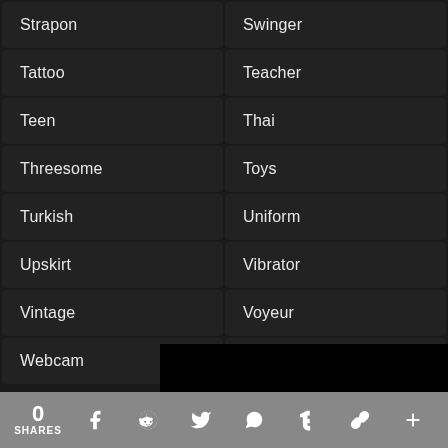Strapon
Swinger
Tattoo
Teacher
Teen
Thai
Threesome
Toys
Turkish
Uniform
Upskirt
Vibrator
Vintage
Voyeur
Webcam
Wife
0 SHARES